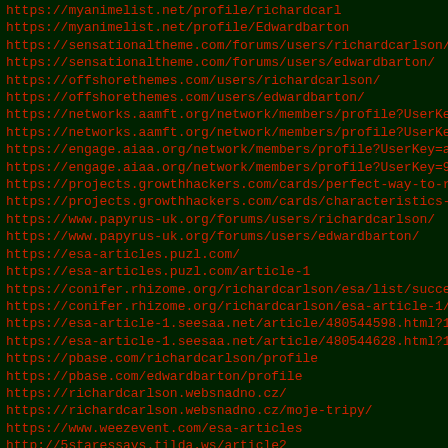https://myanimelist.net/profile/richardcarl
https://myanimelist.net/profile/Edwardbarton
https://sensationaltheme.com/forums/users/richardcarlson/
https://sensationaltheme.com/forums/users/edwardbarton/
https://offshorethemes.com/users/richardcarlson/
https://offshorethemes.com/users/edwardbarton/
https://networks.aamft.org/network/members/profile?UserKey=
https://networks.aamft.org/network/members/profile?UserKey=
https://engage.aiaa.org/network/members/profile?UserKey=a23
https://engage.aiaa.org/network/members/profile?UserKey=997
https://projects.growthhackers.com/cards/perfect-way-to-rem
https://projects.growthhackers.com/cards/characteristics-of
https://www.papyrus-uk.org/forums/users/richardcarlson/
https://www.papyrus-uk.org/forums/users/edwardbarton/
https://esa-articles.puzl.com/
https://esa-articles.puzl.com/article-1
https://conifer.rhizome.org/richardcarlson/esa/list/success
https://conifer.rhizome.org/richardcarlson/esa-article-1/li
https://esa-article-1.seesaa.net/article/480544598.html?161
https://esa-article-1.seesaa.net/article/480544628.html?161
https://pbase.com/richardcarlson/profile
https://pbase.com/edwardbarton/profile
https://richardcarlson.websnadno.cz/
https://richardcarlson.websnadno.cz/moje-tripy/
https://www.weezevent.com/esa-articles
http://5staressays.tilda.ws/article2
http://5staressays.tilda.ws/article1
http://adamclarke.livedoor.blog/archives/8972274.html
http://adamclarke.livedoor.blog/archives/8972301.html
https://shows.acast.com/can-ferrets-be-used-as-an-emoti